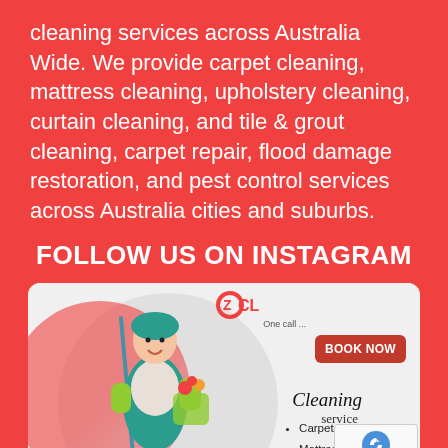cleaning services across Australia Wide. We provide carpet cleaning, mattress cleaning, upholstery cleaning, curtain cleaning, and tile & grout cleaning, carpet repair, flood damage restoration, and pest control services across Australia cities and suburbs.
FOLLOW US ON INSTAGRAM
[Figure (illustration): OZ Cleaning service advertisement showing a female cleaner in a teal apron holding a mop and cleaning supplies basket, with a 'BOOK NOW' button, and a bullet list: Carpet Cleaning, Mattress Cleaning, Tile Cleaning. A reCAPTCHA badge is visible in the lower right corner.]